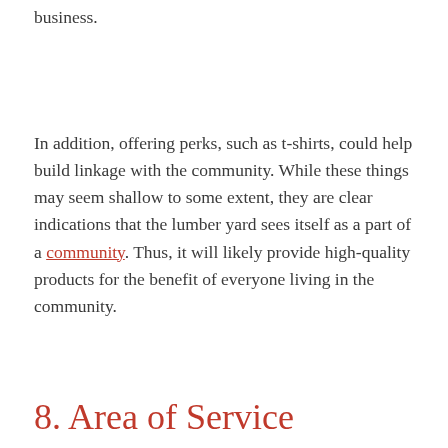business.
In addition, offering perks, such as t-shirts, could help build linkage with the community. While these things may seem shallow to some extent, they are clear indications that the lumber yard sees itself as a part of a community. Thus, it will likely provide high-quality products for the benefit of everyone living in the community.
8. Area of Service